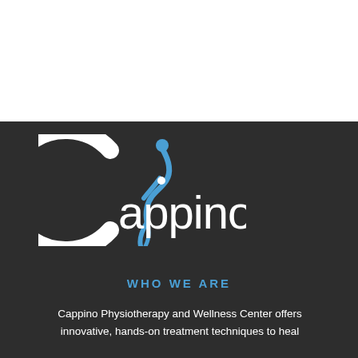[Figure (logo): Cappino physiotherapy logo: a blue figure of a person bending forward, with white rounded text 'Cappino' on a dark background]
WHO WE ARE
Cappino Physiotherapy and Wellness Center offers innovative, hands-on treatment techniques to heal